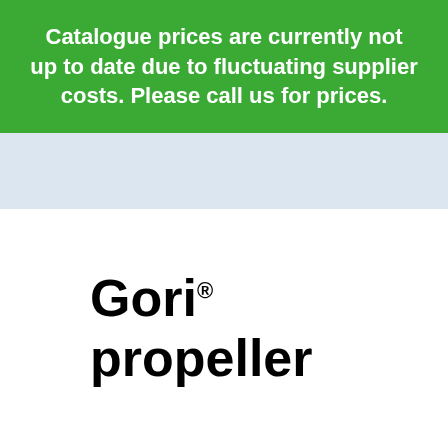Catalogue prices are currently not up to date due to fluctuating supplier costs. Please call us for prices.
[Figure (logo): Gori propeller logo in bold black text with registered trademark symbol]